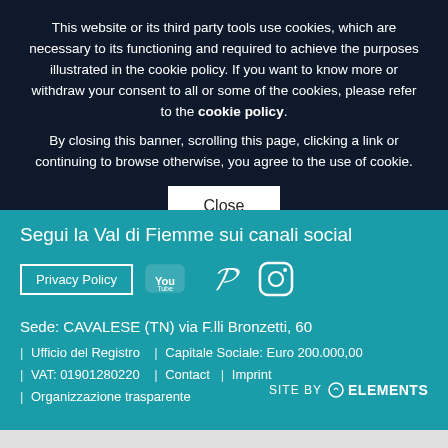This website or its third party tools use cookies, which are necessary to its functioning and required to achieve the purposes illustrated in the cookie policy. If you want to know more or withdraw your consent to all or some of the cookies, please refer to the cookie policy. By closing this banner, scrolling this page, clicking a link or continuing to browse otherwise, you agree to the use of cookie.
Close
Segui la Val di Fiemme sui canali social
Privacy Policy
Sede: CAVALESE (TN) via F.lli Bronzetti, 60
| Ufficio del Registro | Capitale Sociale: Euro 200.000,00
| VAT: 01901280220 | Contact | Imprint
| Organizzazione trasparente
SITE BY elements